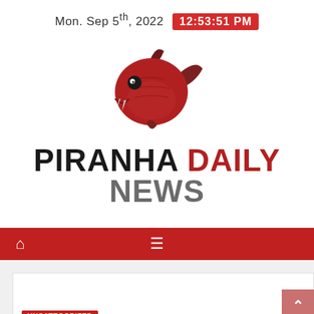Mon. Sep 5th, 2022  12:53:51 PM
[Figure (logo): Piranha fish mascot logo — a red piranha facing left with tusks, dark red fins, and a stern expression]
PIRANHA DAILY NEWS
[Figure (infographic): Red navigation bar with home icon on the left and hamburger menu icon in the center]
UNCATEGORIZED